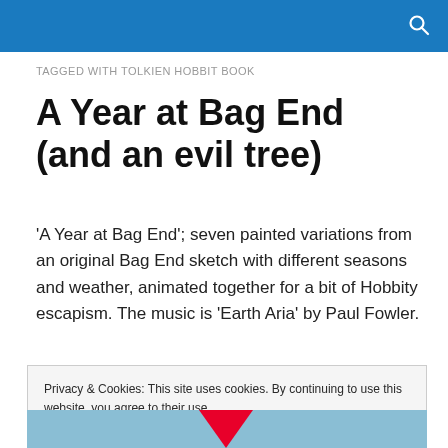TAGGED WITH TOLKIEN HOBBIT BOOK
A Year at Bag End (and an evil tree)
'A Year at Bag End'; seven painted variations from an original Bag End sketch with different seasons and weather, animated together for a bit of Hobbity escapism. The music is 'Earth Aria' by Paul Fowler.
Privacy & Cookies: This site uses cookies. By continuing to use this website, you agree to their use.
To find out more, including how to control cookies, see here: Cookie Policy
[Figure (photo): Partial bottom image showing a snowy or wintry Bag End landscape with a red triangular shape in the center.]